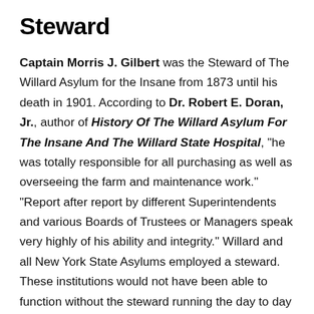Steward
Captain Morris J. Gilbert was the Steward of The Willard Asylum for the Insane from 1873 until his death in 1901. According to Dr. Robert E. Doran, Jr., author of History Of The Willard Asylum For The Insane And The Willard State Hospital, "he was totally responsible for all purchasing as well as overseeing the farm and maintenance work." "Report after report by different Superintendents and various Boards of Trustees or Managers speak very highly of his ability and integrity." Willard and all New York State Asylums employed a steward. These institutions would not have been able to function without the steward running the day to day operations of the farm, garden, various workshops and overall maintenance of the buildings and property. The asylums were like villages that tried to be as self-